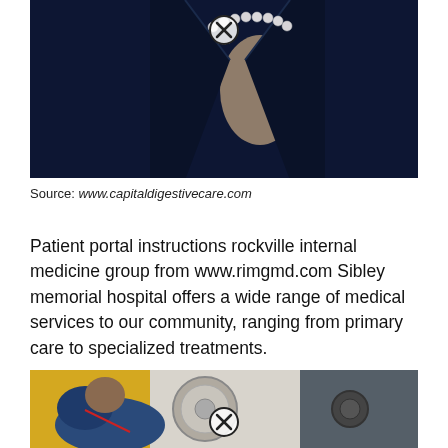[Figure (photo): Close-up of a woman in a dark navy blazer with a pearl necklace, photo partially cut showing torso/collar area. An X/close button icon is overlaid on the image.]
Source: www.capitaldigestivecare.com
Patient portal instructions rockville internal medicine group from www.rimgmd.com Sibley memorial hospital offers a wide range of medical services to our community, ranging from primary care to specialized treatments.
[Figure (photo): A man leaning over appliances (washing machines), wearing a blue jacket. An X/close button icon is overlaid on the image.]